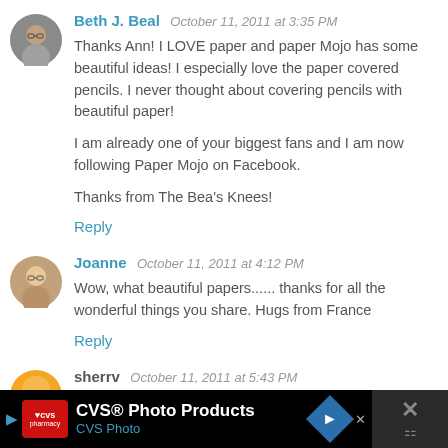[Figure (photo): Circular avatar photo of Beth J. Beal, woman with glasses]
Beth J. Beal  October 11, 2011 at 3:35 PM
Thanks Ann! I LOVE paper and paper Mojo has some beautiful ideas! I especially love the paper covered pencils. I never thought about covering pencils with beautiful paper!

I am already one of your biggest fans and I am now following Paper Mojo on Facebook.

Thanks from The Bea's Knees!
Reply
[Figure (photo): Circular avatar photo of Joanne, woman with glasses]
Joanne  October 11, 2011 at 4:12 PM
Wow, what beautiful papers...... thanks for all the wonderful things you share. Hugs from France
Reply
[Figure (photo): Circular avatar of sherrv, orange/yellow graphic]
sherrv  October 11, 2011 at 5:43 PM
[Figure (screenshot): CVS Photo Products advertisement banner at bottom of page]